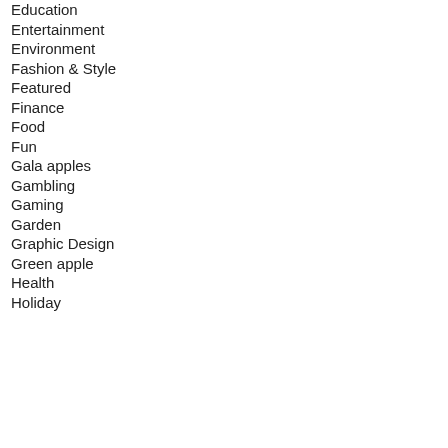Education
Entertainment
Environment
Fashion & Style
Featured
Finance
Food
Fun
Gala apples
Gambling
Gaming
Garden
Graphic Design
Green apple
Health
Holiday